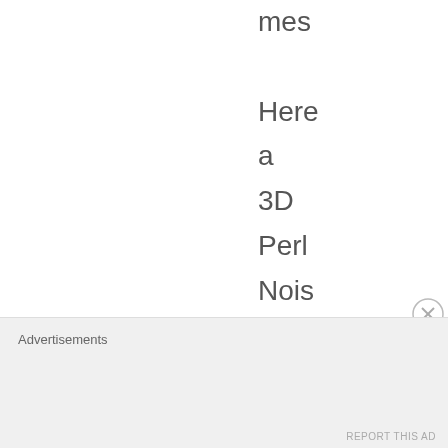mes

Here
a
3D
Perl
Nois
func
for
Unit
C#
Advertisements
REPORT THIS AD